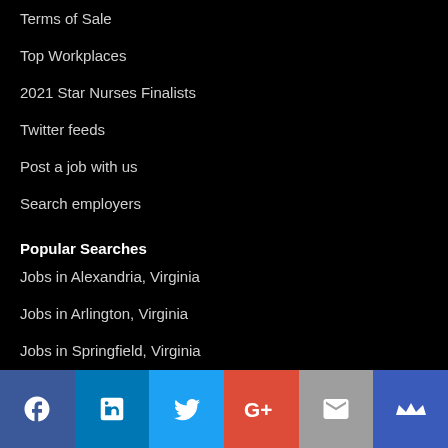Terms of Sale
Top Workplaces
2021 Star Nurses Finalists
Twitter feeds
Post a job with us
Search employers
Popular Searches
Jobs in Alexandria, Virginia
Jobs in Arlington, Virginia
Jobs in Springfield, Virginia
[Figure (infographic): Social media share buttons: Facebook, LinkedIn, Twitter, Google+, Email, Crown/notification icon]